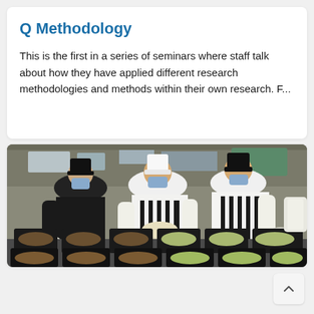Q Methodology
This is the first in a series of seminars where staff talk about how they have applied different research methodologies and methods within their own research. F...
[Figure (photo): Three chefs wearing masks and black/white uniforms preparing food trays in a commercial kitchen, placing food into black plastic trays on a prep table.]